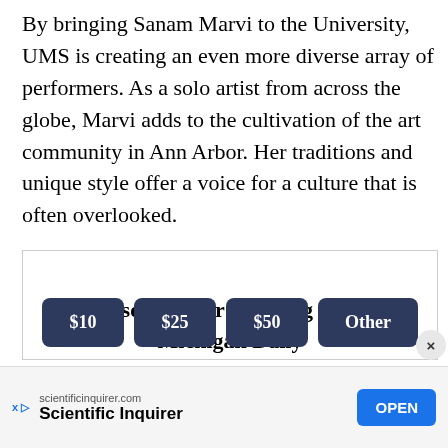By bringing Sanam Marvi to the University, UMS is creating an even more diverse array of performers. As a solo artist from across the globe, Marvi adds to the cultivation of the art community in Ann Arbor. Her traditions and unique style offer a voice for a culture that is often overlooked.
Please consider donating to The Michigan Daily
[Figure (other): Donation buttons showing $10, $25, $50, and Other options with dark navy background]
[Figure (other): Advertisement bar for Scientific Inquirer from scientificinquirer.com with an OPEN button]